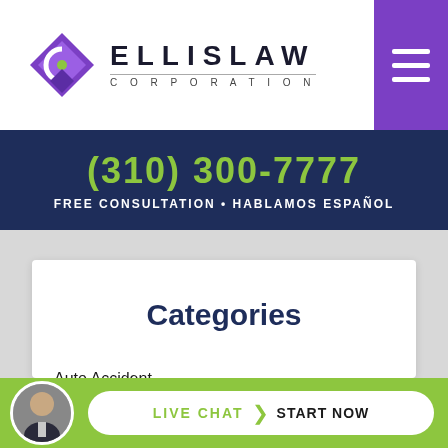[Figure (logo): Ellis Law Corporation logo with purple geometric diamond shape and ELLISLAW CORPORATION text]
(310) 300-7777
FREE CONSULTATION • HABLAMOS ESPAÑOL
Categories
Auto Accident
Birth Injuries
LIVE CHAT › START NOW